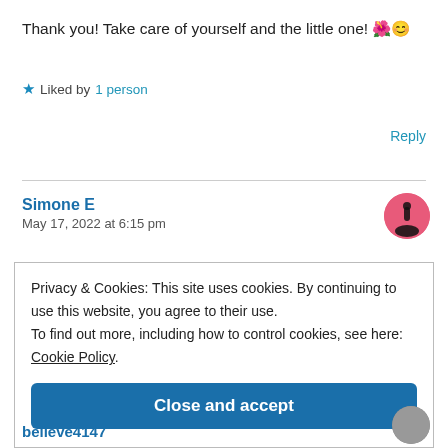Thank you! Take care of yourself and the little one! 🌺😊
★ Liked by 1 person
Reply
Simone E
May 17, 2022 at 6:15 pm
Privacy & Cookies: This site uses cookies. By continuing to use this website, you agree to their use. To find out more, including how to control cookies, see here: Cookie Policy
Close and accept
believe4147